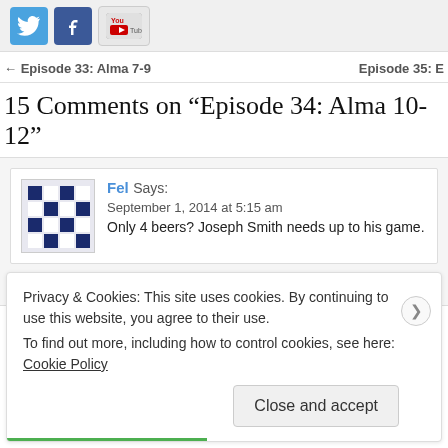[Figure (other): Social media icons: Twitter (blue bird), Facebook (blue f), YouTube (red play button on white)]
← Episode 33: Alma 7-9
Episode 35: E
15 Comments on “Episode 34: Alma 10-12”
Fel Says:
September 1, 2014 at 5:15 am
Only 4 beers? Joseph Smith needs up to his game.
Reply
Privacy & Cookies: This site uses cookies. By continuing to use this website, you agree to their use.
To find out more, including how to control cookies, see here: Cookie Policy
Close and accept